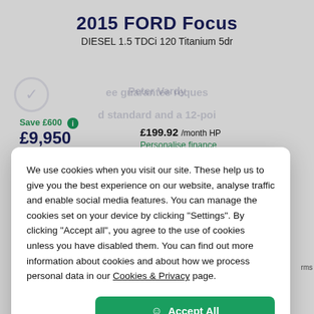2015 FORD Focus
DIESEL 1.5 TDCi 120 Titanium 5dr
Save £600
£9,950
Deal Promise
£199.92 /month HP
Personalise finance
We use cookies when you visit our site. These help us to give you the best experience on our website, analyse traffic and enable social media features. You can manage the cookies set on your device by clicking "Settings". By clicking "Accept all", you agree to the use of cookies unless you have disabled them. You can find out more information about cookies and about how we process personal data in our Cookies & Privacy page.
Accept All
Settings
Convenience Promise